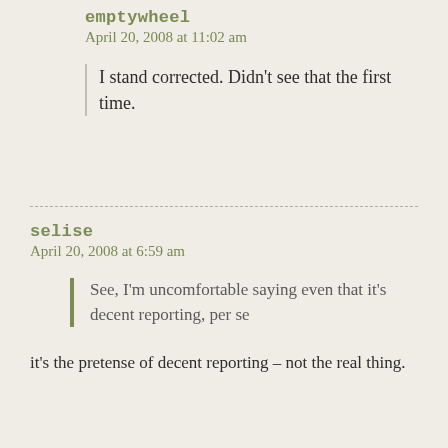emptywheel
April 20, 2008 at 11:02 am
I stand corrected. Didn’t see that the first time.
selise
April 20, 2008 at 6:59 am
See, I’m uncomfortable saying even that it’s decent reporting, per se
it’s the pretense of decent reporting – not the real thing.